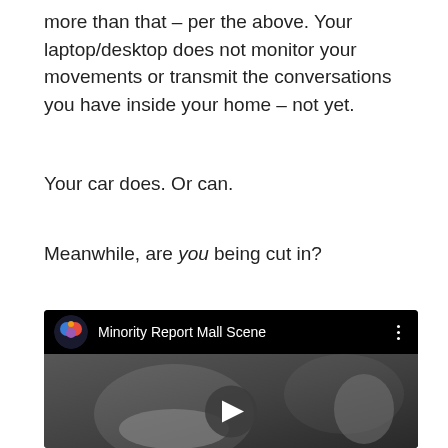more than that – per the above. Your laptop/desktop does not monitor your movements or transmit the conversations you have inside your home – not yet.
Your car does. Or can.
Meanwhile, are you being cut in?
[Figure (screenshot): YouTube video thumbnail for 'Minority Report Mall Scene' showing a black and white still with a person in foreground and a play button overlay]